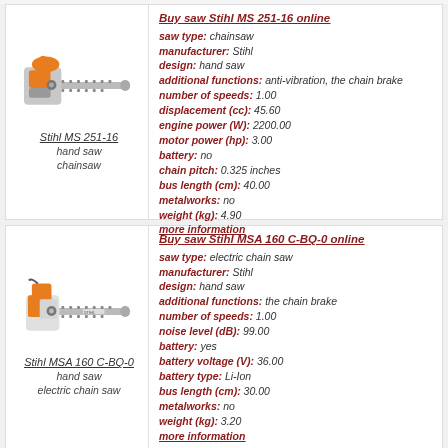[Figure (photo): Stihl MS 251-16 chainsaw product image with orange and grey body]
Stihl MS 251-16
hand saw
chainsaw
Buy saw Stihl MS 251-16 online
saw type: chainsaw
manufacturer: Stihl
design: hand saw
additional functions: anti-vibration, the chain brake
number of speeds: 1.00
displacement (cc): 45.60
engine power (W): 2200.00
motor power (hp): 3.00
battery: no
chain pitch: 0.325 inches
bus length (cm): 40.00
metalworks: no
weight (kg): 4.90
more information
[Figure (photo): Stihl MSA 160 C-BQ-0 electric chainsaw product image with orange and white/grey body]
Stihl MSA 160 C-BQ-0
hand saw
electric chain saw
Buy saw Stihl MSA 160 C-BQ-0 online
saw type: electric chain saw
manufacturer: Stihl
design: hand saw
additional functions: the chain brake
number of speeds: 1.00
noise level (dB): 99.00
battery: yes
battery voltage (V): 36.00
battery type: Li-Ion
bus length (cm): 30.00
metalworks: no
weight (kg): 3.20
more information